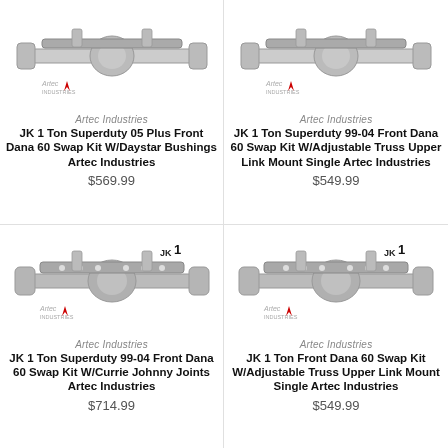[Figure (photo): Artec Industries JK 1 Ton Superduty front Dana 60 swap kit axle assembly photo]
Artec Industries
JK 1 Ton Superduty 05 Plus Front Dana 60 Swap Kit W/Daystar Bushings Artec Industries
$569.99
[Figure (photo): Artec Industries JK 1 Ton Superduty 99-04 front Dana 60 swap kit axle assembly photo]
Artec Industries
JK 1 Ton Superduty 99-04 Front Dana 60 Swap Kit W/Adjustable Truss Upper Link Mount Single Artec Industries
$549.99
[Figure (photo): Artec Industries JK 1 Ton Superduty 99-04 front Dana 60 swap kit with Currie Johnny Joints axle assembly photo]
Artec Industries
JK 1 Ton Superduty 99-04 Front Dana 60 Swap Kit W/Currie Johnny Joints Artec Industries
$714.99
[Figure (photo): Artec Industries JK 1 Ton Front Dana 60 Swap Kit W/Adjustable Truss Upper Link Mount Single axle assembly photo]
Artec Industries
JK 1 Ton Front Dana 60 Swap Kit W/Adjustable Truss Upper Link Mount Single Artec Industries
$549.99